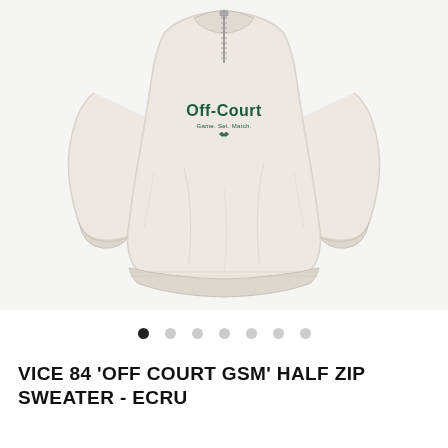[Figure (photo): An ecru/off-white half-zip sweatshirt displayed flat against a light grey background. The sweatshirt has a quarter-zip collar with a silver zipper, ribbed cuffs and hem, and an embroidered chest graphic reading 'Off-Court' in dark green bold text with 'Game. Set. Match.' in smaller text beneath it and a small logo below that.]
• (7 navigation dots, first dot active)
VICE 84 'OFF COURT GSM' HALF ZIP SWEATER - ECRU